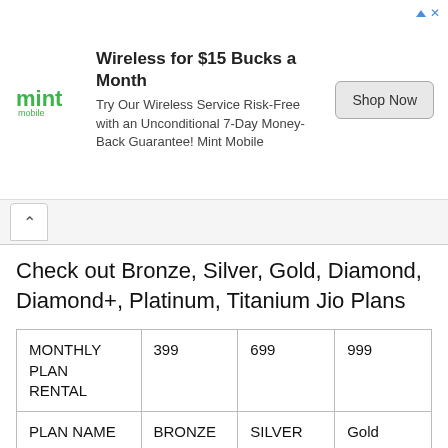[Figure (other): Mint Mobile advertisement banner: logo on left, ad text in center, 'Shop Now' button on right. Title: 'Wireless for $15 Bucks a Month'. Subtitle: 'Try Our Wireless Service Risk-Free with an Unconditional 7-Day Money-Back Guarantee! Mint Mobile']
Check out Bronze, Silver, Gold, Diamond, Diamond+, Platinum, Titanium Jio Plans
|  | 399 | 699 | 999 |
| --- | --- | --- | --- |
| MONTHLY PLAN RENTAL | 399 | 699 | 999 |
| PLAN NAME | BRONZE | SILVER | Gold |
| Truly Unlimited Internet | 30 Mbps | 100 Mbps | 150 Mbps |
| Unlimited |  |  |  |